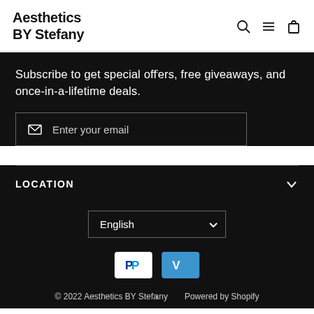Aesthetics BY Stefany
Subscribe to get special offers, free giveaways, and once-in-a-lifetime deals.
Enter your email
LOCATION
English
© 2022 Aesthetics BY Stefany    Powered by Shopify